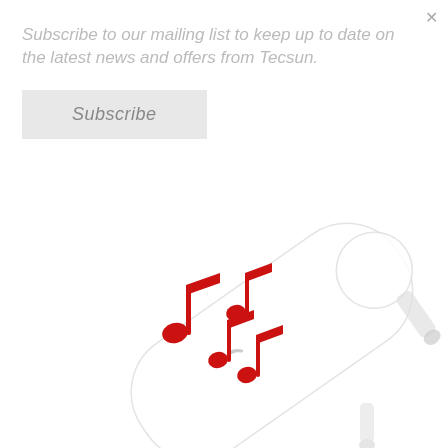Subscribe to our mailing list to keep up to date on the latest news and offers from Tecsun.
Subscribe
[Figure (illustration): Red musical notes floating above a tilted white radio/device with a sad face emoji expression. The device is shown at an angle with music notes in red above it.]